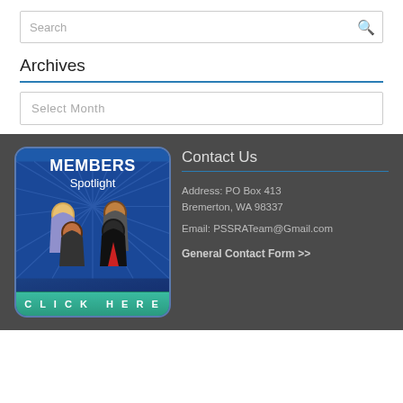[Figure (screenshot): Search input box with magnifying glass icon]
Archives
[Figure (screenshot): Select Month dropdown]
[Figure (illustration): Members Spotlight banner with group of people figures and CLICK HERE button]
Contact Us
Address: PO Box 413 Bremerton, WA 98337
Email: PSSRATeam@Gmail.com
General Contact Form >>